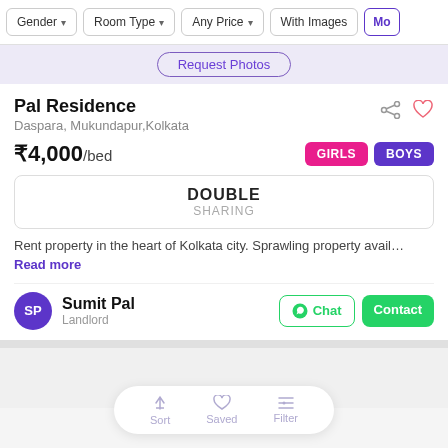Gender | Room Type | Any Price | With Images | Mo...
Request Photos
Pal Residence
Daspara, Mukundapur,Kolkata
₹4,000/bed
GIRLS  BOYS
DOUBLE
SHARING
Rent property in the heart of Kolkata city. Sprawling property avail…  Read more
Sumit Pal
Landlord
Chat  Contact
Sort  Saved  Filter